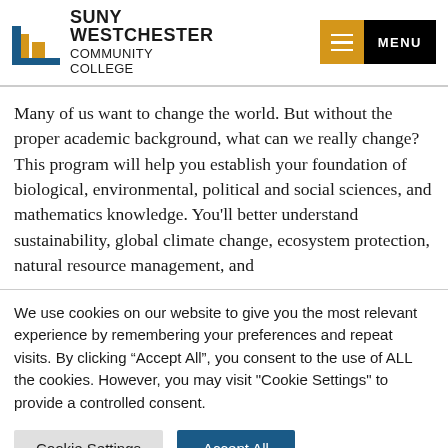[Figure (logo): SUNY Westchester Community College logo with building icon and text]
Many of us want to change the world. But without the proper academic background, what can we really change? This program will help you establish your foundation of biological, environmental, political and social sciences, and mathematics knowledge. You’ll better understand sustainability, global climate change, ecosystem protection, natural resource management, and
We use cookies on our website to give you the most relevant experience by remembering your preferences and repeat visits. By clicking “Accept All”, you consent to the use of ALL the cookies. However, you may visit "Cookie Settings" to provide a controlled consent.